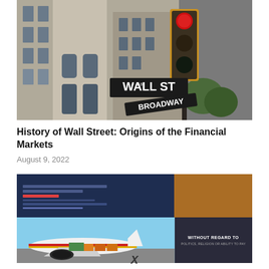[Figure (photo): Street-level photograph of the Wall Street sign with Broadway sign below, traffic light in foreground, and tall classic financial district building in background]
History of Wall Street: Origins of the Financial Markets
August 9, 2022
[Figure (photo): Composite image: top portion shows a dark blue website/dashboard interface screen with orange section on the right; bottom portion shows an airplane being loaded with cargo (Southwest Airlines livery visible) on the left, and a dark panel on the right reading 'WITHOUT REGARD TO POLITICS, RELIGION OR ABILITY TO PAY']